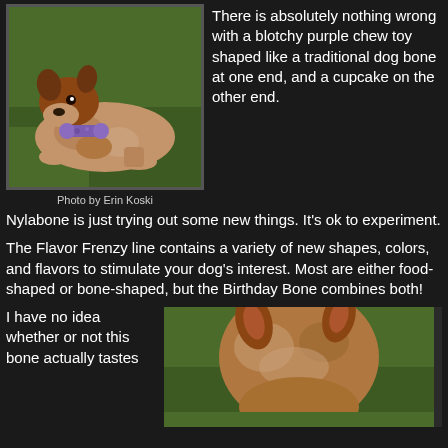[Figure (photo): A dog lying on grass chewing a purple bone-shaped toy]
Photo by Erin Koski
There is absolutely nothing wrong with a blotchy purple chew toy shaped like a traditional dog bone at one end, and a cupcake on the other end.
Nylabone is just trying out some new things. It's ok to experiment.
The Flavor Frenzy line contains a variety of new shapes, colors, and flavors to stimulate your dog's interest. Most are either food-shaped or bone-shaped, but the Birthday Bone combines both!
I have no idea whether or not this bone actually tastes
[Figure (photo): Close-up of a dog's head from behind, on grass, with a purple toy visible]